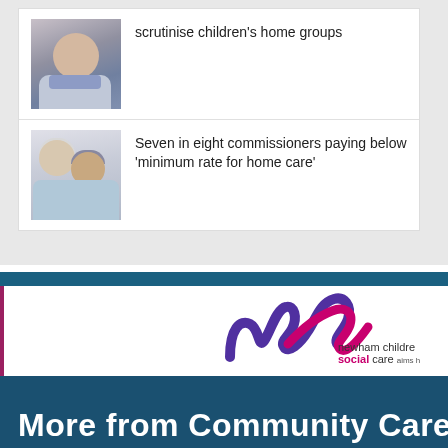[Figure (photo): Photo of a woman with short grey-brown hair wearing a purple/blue scarf]
scrutinise children's home groups
[Figure (photo): Photo of an elderly man with glasses being assisted by a younger woman in blue]
Seven in eight commissioners paying below 'minimum rate for home care'
[Figure (logo): Newham children's social care logo with stylized checkmark wave in purple and magenta]
newham childre social care aims h
More from Community Care